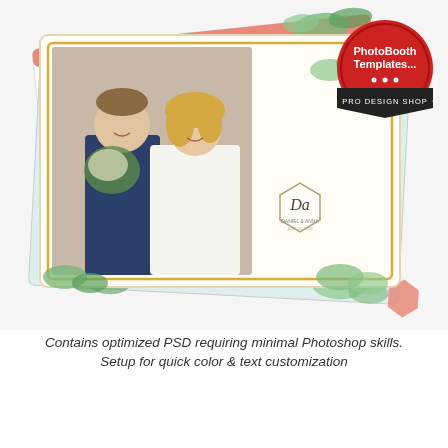[Figure (illustration): Product promotional image showing three overlapping wedding photo booth template cards with floral/botanical greenery and coral/salmon border designs. A bride and groom couple photo is featured on the top card. A red and dark badge in the top-right corner reads 'PhotoBooth Templates... PRO DESIGN SHOP'.]
Contains optimized PSD requiring minimal Photoshop skills.
Setup for quick color & text customization